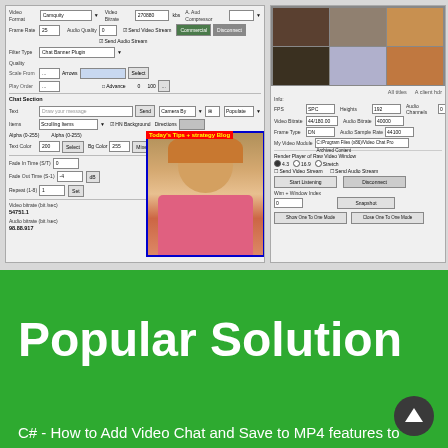[Figure (screenshot): Software application screenshot showing a video chat/streaming tool with controls for video format, frame rate, audio quality, filter type, chat, fade in/out, and a preview window showing a smiling woman in a pink shirt with a red/yellow text overlay banner]
[Figure (screenshot): Software screenshot showing a video conferencing interface with a 3x2 grid of participant video thumbnails at top, and settings controls below including FPS, height, audio channels, video bitrate, audio bitrate, frame type, audio sample rate, file path for video, version options (4.1, 12.3, Stretch), send video/audio stream checkboxes, Start Listening button, window index, Snapshot button, and Show One To One Mode / Close One To One Mode buttons]
Popular Solution
C# - How to Add Video Chat and Save to MP4 features to